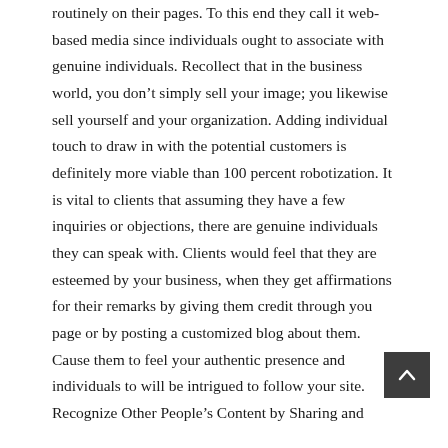routinely on their pages. To this end they call it web-based media since individuals ought to associate with genuine individuals. Recollect that in the business world, you don't simply sell your image; you likewise sell yourself and your organization. Adding individual touch to draw in with the potential customers is definitely more viable than 100 percent robotization. It is vital to clients that assuming they have a few inquiries or objections, there are genuine individuals they can speak with. Clients would feel that they are esteemed by your business, when they get affirmations for their remarks by giving them credit through you page or by posting a customized blog about them. Cause them to feel your authentic presence and individuals to will be intrigued to follow your site.
Recognize Other People’s Content by Sharing and